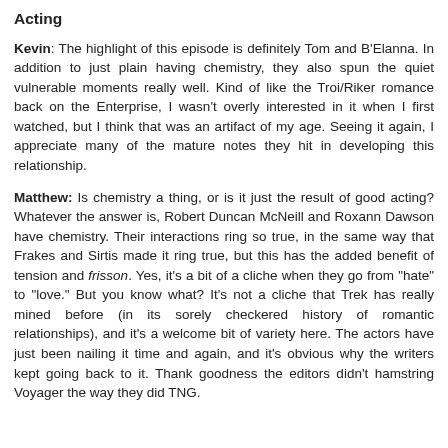Acting
Kevin: The highlight of this episode is definitely Tom and B'Elanna. In addition to just plain having chemistry, they also spun the quiet vulnerable moments really well. Kind of like the Troi/Riker romance back on the Enterprise, I wasn't overly interested in it when I first watched, but I think that was an artifact of my age. Seeing it again, I appreciate many of the mature notes they hit in developing this relationship.
Matthew: Is chemistry a thing, or is it just the result of good acting? Whatever the answer is, Robert Duncan McNeill and Roxann Dawson have chemistry. Their interactions ring so true, in the same way that Frakes and Sirtis made it ring true, but this has the added benefit of tension and frisson. Yes, it's a bit of a cliche when they go from "hate" to "love." But you know what? It's not a cliche that Trek has really mined before (in its sorely checkered history of romantic relationships), and it's a welcome bit of variety here. The actors have just been nailing it time and again, and it's obvious why the writers kept going back to it. Thank goodness the editors didn't hamstring Voyager the way they did TNG.